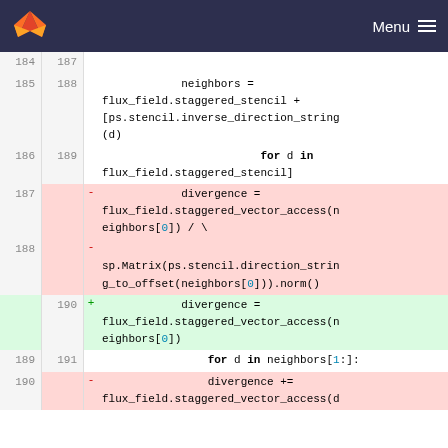GitLab — Menu
Code diff showing lines 184-190 with deleted and added lines for divergence computation using flux_field.staggered_vector_access
[Figure (screenshot): GitLab code diff view showing Python source code with line numbers, deleted lines (red background) and added lines (green background). Lines cover neighbors assignment, for loop, and divergence calculation.]